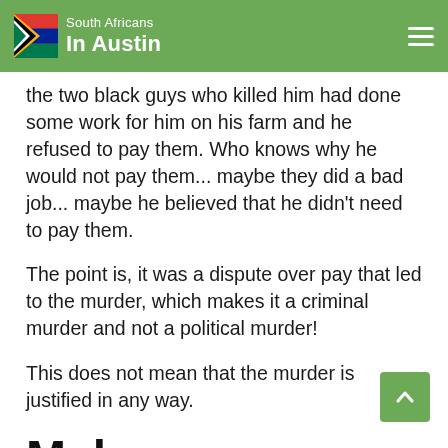South Africans In Austin
the two black guys who killed him had done some work for him on his farm and he refused to pay them. Who knows why he would not pay them... maybe they did a bad job... maybe he believed that he didn't need to pay them.
The point is, it was a dispute over pay that led to the murder, which makes it a criminal murder and not a political murder!
This does not mean that the murder is justified in any way.
Malema